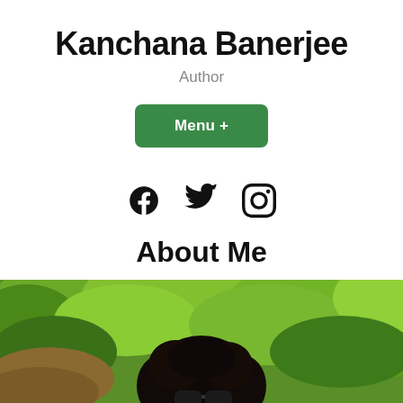Kanchana Banerjee
Author
[Figure (other): Green Menu + button]
[Figure (other): Social media icons: Facebook, Twitter, Instagram]
About Me
[Figure (photo): Photo of Kanchana Banerjee outdoors with sunglasses, surrounded by green trees]